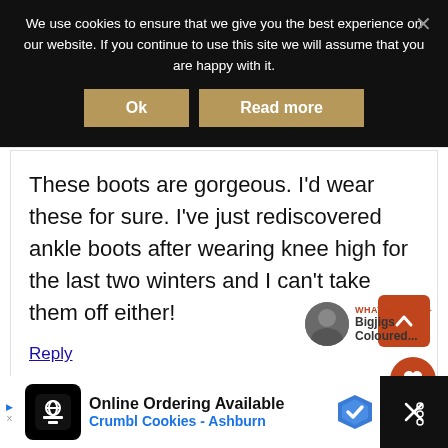We use cookies to ensure that we give you the best experience on our website. If you continue to use this site we will assume that you are happy with it.
Ok
Read more
These boots are gorgeous. I'd wear these for sure. I've just rediscovered ankle boots after wearing knee high for the last two winters and I can't take them off either!
Reply
WHAT'S NEXT → Bigjigs Coloured...
Online Ordering Available
Crumbl Cookies - Ashburn